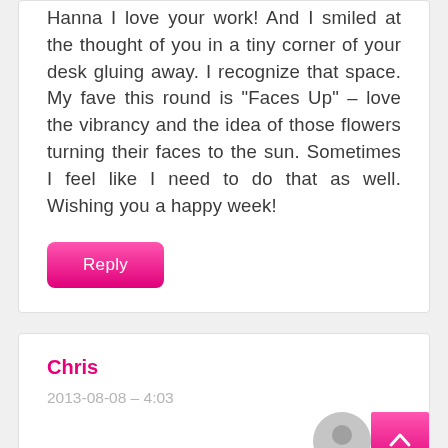Hanna I love your work! And I smiled at the thought of you in a tiny corner of your desk gluing away. I recognize that space. My fave this round is "Faces Up" – love the vibrancy and the idea of those flowers turning their faces to the sun. Sometimes I feel like I need to do that as well. Wishing you a happy week!
Reply
Chris
2013-08-08 – 4:03